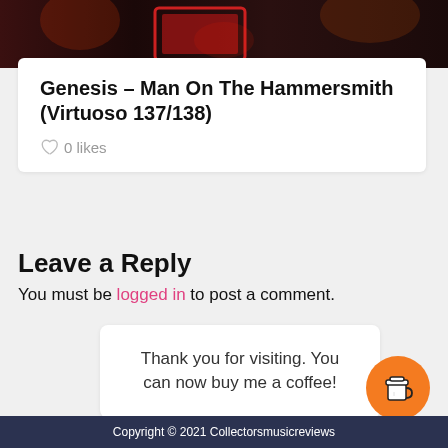[Figure (photo): Concert photo at top of page, dark background with red stage lighting and performers]
Genesis – Man On The Hammersmith (Virtuoso 137/138)
0 likes
Leave a Reply
You must be logged in to post a comment.
Thank you for visiting. You can now buy me a coffee!
Copyright © 2021 Collectorsmusicreviews